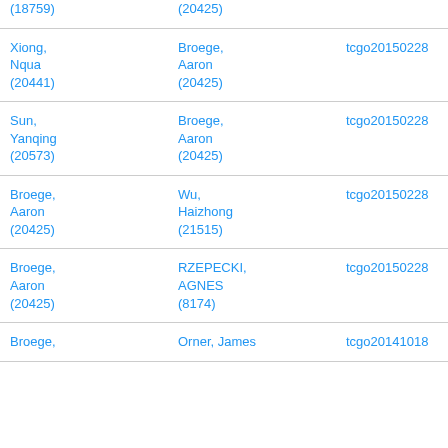| (18759) | (20425) |  |
| Xiong, Nqua (20441) | Broege, Aaron (20425) | tcgo20150228 |
| Sun, Yanqing (20573) | Broege, Aaron (20425) | tcgo20150228 |
| Broege, Aaron (20425) | Wu, Haizhong (21515) | tcgo20150228 |
| Broege, Aaron (20425) | RZEPECKI, AGNES (8174) | tcgo20150228 |
| Broege, | Orner, James | tcgo20141018 |